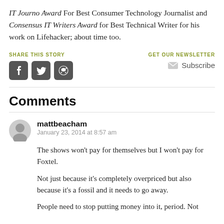IT Journo Award For Best Consumer Technology Journalist and Consensus IT Writers Award for Best Technical Writer for his work on Lifehacker; about time too.
[Figure (infographic): Share this story section with social media icons (Facebook, Twitter, Reddit) and Get Our Newsletter with Subscribe button]
Comments
mattbeacham
January 23, 2014 at 8:57 am
The shows won't pay for themselves but I won't pay for Foxtel.
Not just because it's completely overpriced but also because it's a fossil and it needs to go away.
People need to stop putting money into it, period. Not